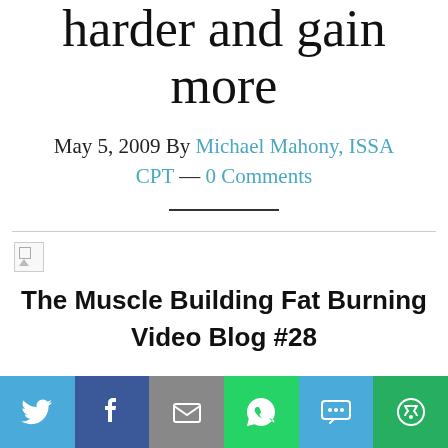harder and gain more
May 5, 2009 By Michael Mahony, ISSA CPT — 0 Comments
[Figure (other): Broken image placeholder icon]
The Muscle Building Fat Burning Video Blog #28
[Figure (other): Social sharing bar with Twitter, Facebook, Email, WhatsApp, SMS, and More buttons]